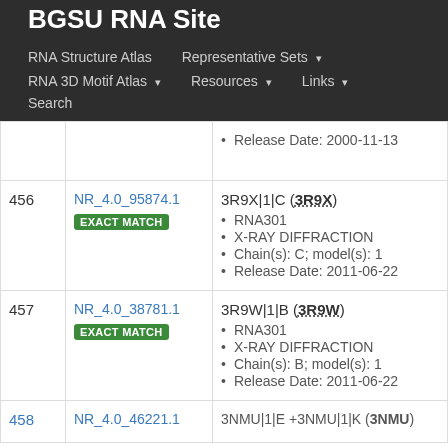BGSU RNA Site
RNA Structure Atlas | Representative Sets ▾ | RNA 3D Motif Atlas ▾ | Resources ▾ | Links ▾ | Search
| # | NR Set | Details |
| --- | --- | --- |
|  |  | Release Date: 2000-11-13 |
| 456 | NR_4.0_95874.1 EXACT MATCH | 3R9X|1|C (3R9X)
• RNA301
• X-RAY DIFFRACTION
• Chain(s): C; model(s): 1
• Release Date: 2011-06-22 |
| 457 | NR_4.0_38781.1 EXACT MATCH | 3R9W|1|B (3R9W)
• RNA301
• X-RAY DIFFRACTION
• Chain(s): B; model(s): 1
• Release Date: 2011-06-22 |
| 458 | NR_4.0_46221.1 | 3NMU|1|E +3NMU|1|K (3NMU) |